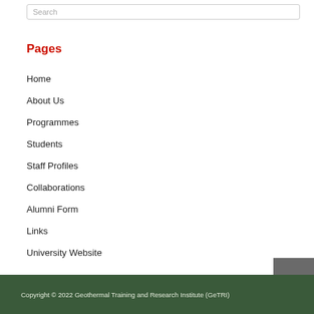Pages
Home
About Us
Programmes
Students
Staff Profiles
Collaborations
Alumni Form
Links
University Website
Copyright © 2022 Geothermal Training and Research Institute (GeTRI)